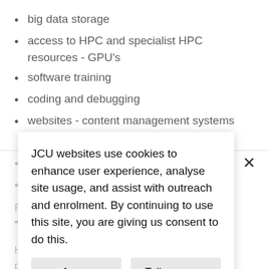big data storage
access to HPC and specialist HPC resources - GPU's
software training
coding and debugging
websites - content management systems (CMS) and others
sensor networking
agTech
Find out more on our hub...
Training for researchers
Here at the JCU eResearch Centre, we are passionate about training researchers. Today's researchers embark on complex projects in which big data management and data programming are becoming more relevant. Acquiring sound data and computing skills can help researchers work more
JCU websites use cookies to enhance user experience, analyse site usage, and assist with outreach and enrolment. By continuing to use this site, you are giving us consent to do this.